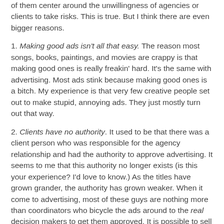of them center around the unwillingness of agencies or clients to take risks. This is true. But I think there are even bigger reasons.
1. Making good ads isn't all that easy. The reason most songs, books, paintings, and movies are crappy is that making good ones is really freakin' hard. It's the same with advertising. Most ads stink because making good ones is a bitch. My experience is that very few creative people set out to make stupid, annoying ads. They just mostly turn out that way.
2. Clients have no authority. It used to be that there was a client person who was responsible for the agency relationship and had the authority to approve advertising. It seems to me that this authority no longer exists (is this your experience? I'd love to know.) As the titles have grown grander, the authority has grown weaker. When it come to advertising, most of these guys are nothing more than coordinators who bicycle the ads around to the real decision makers to get them approved. It is possible to sell an unusual idea to one person -- it's impossible to sell it to 20